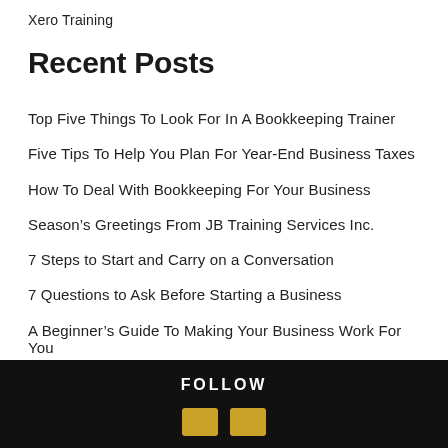Xero Training
Recent Posts
Top Five Things To Look For In A Bookkeeping Trainer
Five Tips To Help You Plan For Year-End Business Taxes
How To Deal With Bookkeeping For Your Business
Season's Greetings From JB Training Services Inc.
7 Steps to Start and Carry on a Conversation
7 Questions to Ask Before Starting a Business
A Beginner's Guide To Making Your Business Work For You
Announcing The New Website
New Website Under Construction
FOLLOW